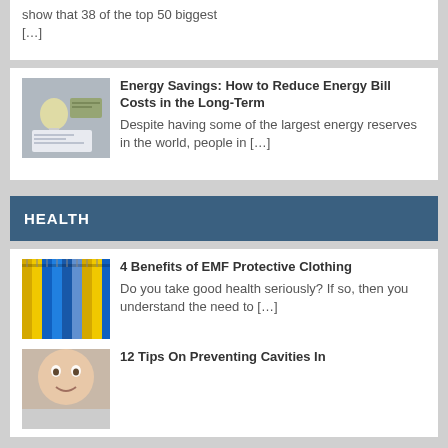show that 38 of the top 50 biggest [...]
[Figure (photo): Thumbnail image related to energy article]
Energy Savings: How to Reduce Energy Bill Costs in the Long-Term
Despite having some of the largest energy reserves in the world, people in [...]
HEALTH
[Figure (photo): Thumbnail image of colorful hanging clothes (EMF protective clothing)]
4 Benefits of EMF Protective Clothing
Do you take good health seriously? If so, then you understand the need to [...]
[Figure (photo): Thumbnail image of a child's face (cavities article)]
12 Tips On Preventing Cavities In